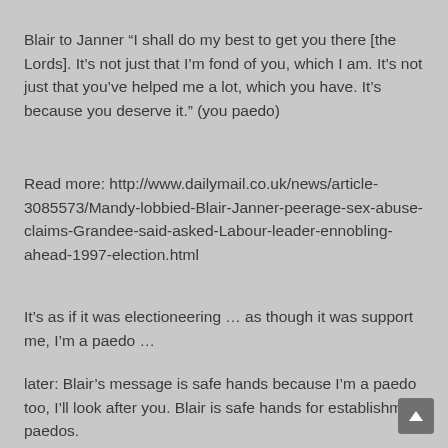Blair to Janner “I shall do my best to get you there [the Lords]. It’s not just that I’m fond of you, which I am. It’s not just that you’ve helped me a lot, which you have. It’s because you deserve it.” (you paedo)
Read more: http://www.dailymail.co.uk/news/article-3085573/Mandy-lobbied-Blair-Janner-peerage-sex-abuse-claims-Grandee-said-asked-Labour-leader-ennobling-ahead-1997-election.html
It’s as if it was electioneering … as though it was support me, I’m a paedo …
later: Blair’s message is safe hands because I’m a paedo too, I’ll look after you. Blair is safe hands for establishment paedos.